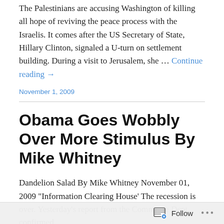The Palestinians are accusing Washington of killing all hope of reviving the peace process with the Israelis. It comes after the US Secretary of State, Hillary Clinton, signaled a U-turn on settlement building. During a visit to Jerusalem, she … Continue reading →
November 1, 2009
Obama Goes Wobbly Over More Stimulus By Mike Whitney
Dandelion Salad By Mike Whitney November 01, 2009 "Information Clearing House' The recession is over. Yesterday's report from the Commerce Dept. confirmed
Follow ...